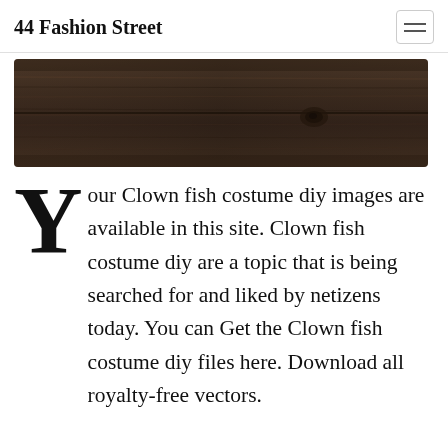44 Fashion Street
[Figure (photo): A close-up photo of dark brown wooden planks or a wooden shelf, showing wood grain texture and a knot.]
Your Clown fish costume diy images are available in this site. Clown fish costume diy are a topic that is being searched for and liked by netizens today. You can Get the Clown fish costume diy files here. Download all royalty-free vectors.